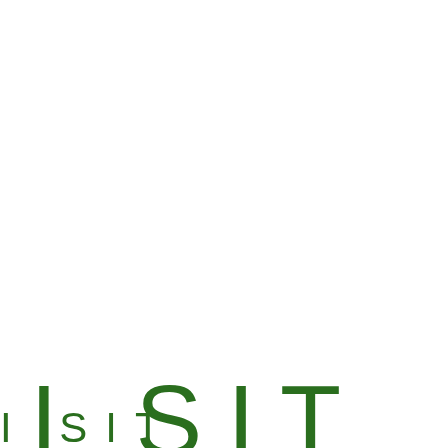[Figure (logo): TUNE logo in blue large letters, partially cropped on the right]
Jobs Board
Marketing Web Developer, TUNE
Who we are... TUNE delivers the most complete set of products for marketers to drive superior results in mobile and beyond. Manage marketing campaigns, engage...
[Figure (logo): Visit Seattle logo with large green letters 'ISIT' and 'seattle', partially cropped]